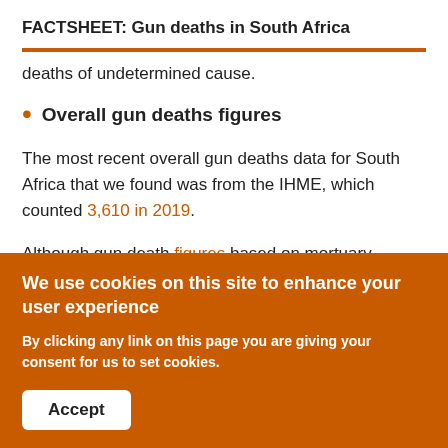FACTSHEET: Gun deaths in South Africa
deaths of undetermined cause.
Overall gun deaths figures
The most recent overall gun deaths data for South Africa that we found was from the IHME, which counted 3,610 in 2019.
Although gun death figures based on mortuary records for 2015/16, 2016/17, and 2017/18 were given in
We use cookies on this site to enhance your user experience
By clicking any link on this page you are giving your consent for us to set cookies.
Accept